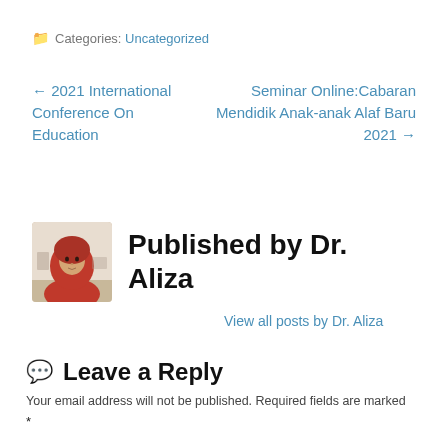Categories: Uncategorized
← 2021 International Conference On Education
Seminar Online:Cabaran Mendidik Anak-anak Alaf Baru 2021 →
[Figure (photo): Author avatar photo of Dr. Aliza, woman in red hijab seated at desk]
Published by Dr. Aliza
View all posts by Dr. Aliza
Leave a Reply
Your email address will not be published. Required fields are marked *